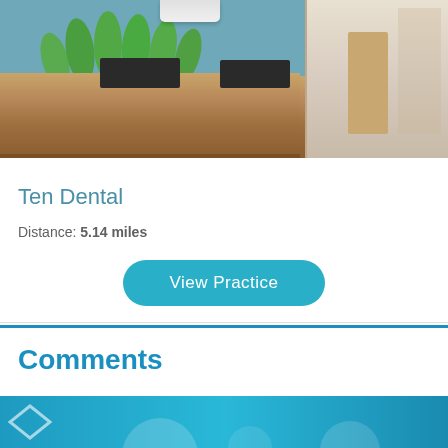[Figure (photo): Interior photo of a dental practice reception area with a wooden desk, green leaf decorations on the wall, blue painted walls, and a hallway visible on the right side.]
Ten Dental
Distance: 5.14 miles
View Practice
Comments